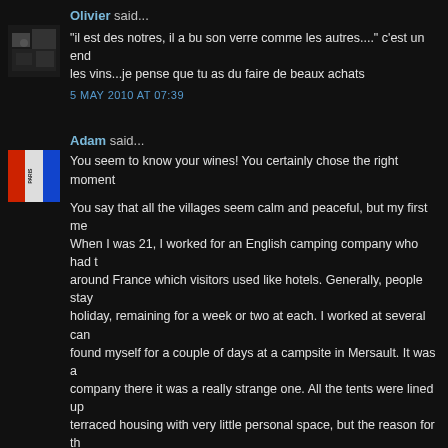Olivier said...
"il est des notres, il a bu son verre comme les autres...." c'est un end les vins...je pense que tu as du faire de beaux achats
5 MAY 2010 AT 07:39
Adam said...
You seem to know your wines! You certainly chose the right moment
You say that all the villages seem calm and peaceful, but my first me When I was 21, I worked for an English camping company who had t around France which visitors used like hotels. Generally, people stay holiday, remaining for a week or two at each. I worked at several can found myself for a couple of days at a campsite in Mersault. It was a company there it was a really strange one. All the tents were lined up terraced housing with very little personal space, but the reason for th actually stayed on the campsite for more than one night, but they jus stop before continuing their journey down to to the campsites on the
5 MAY 2010 AT 09:48
Catherine said...